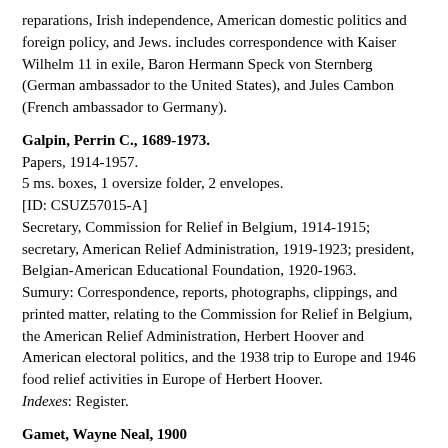reparations, Irish independence, American domestic politics and foreign policy, and Jews. includes correspondence with Kaiser Wilhelm 11 in exile, Baron Hermann Speck von Sternberg (German ambassador to the United States), and Jules Cambon (French ambassador to Germany).
Galpin, Perrin C., 1689-1973.
Papers, 1914-1957.
5 ms. boxes, 1 oversize folder, 2 envelopes.
[ID: CSUZ57015-A]
Secretary, Commission for Relief in Belgium, 1914-1915; secretary, American Relief Administration, 1919-1923; president, Belgian-American Educational Foundation, 1920-1963.
Sumury: Correspondence, reports, photographs, clippings, and printed matter, relating to the Commission for Relief in Belgium, the American Relief Administration, Herbert Hoover and American electoral politics, and the 1938 trip to Europe and 1946 food relief activities in Europe of Herbert Hoover.
Indexes: Register.
Gamet, Wayne Neal, 1900
Squadron 40-T : typescript memoirs, n.d.
1 folder.
[ID: CSUZ76068-A]
Rear admiral, U.S. Navy.